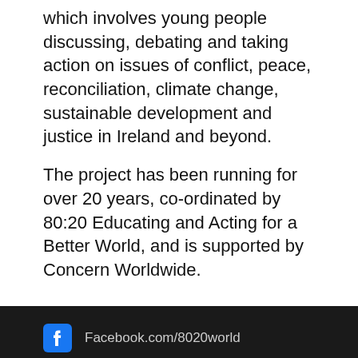which involves young people discussing, debating and taking action on issues of conflict, peace, reconciliation, climate change, sustainable development and justice in Ireland and beyond.
The project has been running for over 20 years, co-ordinated by 80:20 Educating and Acting for a Better World, and is supported by Concern Worldwide.
Facebook.com/8020world | @our8020world | YouTube